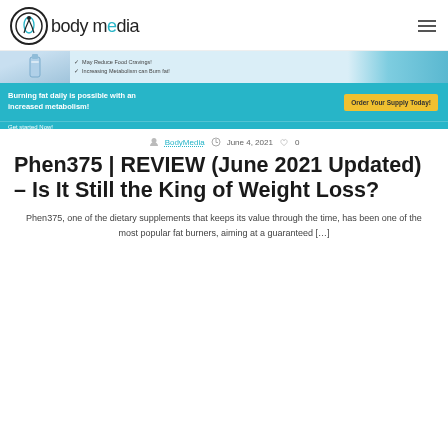body media
[Figure (other): Advertisement banner for a fat burning supplement product showing product bottle on left, bullet points about reducing food cravings and metabolism, blue background with text 'Burning fat daily is possible with an increased metabolism!' and a yellow 'Order Your Supply Today!' button]
BodyMedia  June 4, 2021  0
Phen375 | REVIEW (June 2021 Updated) – Is It Still the King of Weight Loss?
Phen375, one of the dietary supplements that keeps its value through the time, has been one of the most popular fat burners, aiming at a guaranteed […]